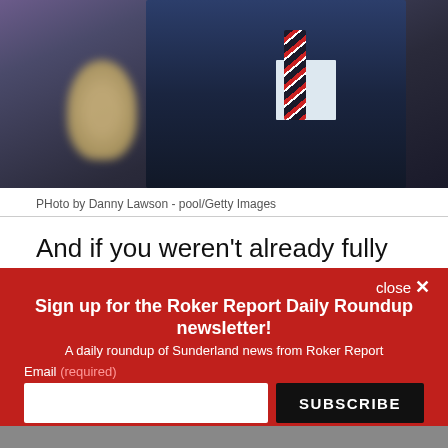[Figure (photo): Man in dark suit with striped red and white tie, with a blurred child in the background wearing purple]
PHoto by Danny Lawson - pool/Getty Images
And if you weren't already fully acclimatised with the signs of a dismal era, Champions football the...
[Figure (screenshot): Newsletter signup popup overlay with red background. Title: Sign up for the Roker Report Daily Roundup newsletter! Subtitle: A daily roundup of Sunderland news from Roker Report. Email (required) input field and SUBSCRIBE button. Disclaimer about Terms and Privacy Notice, reCAPTCHA.]